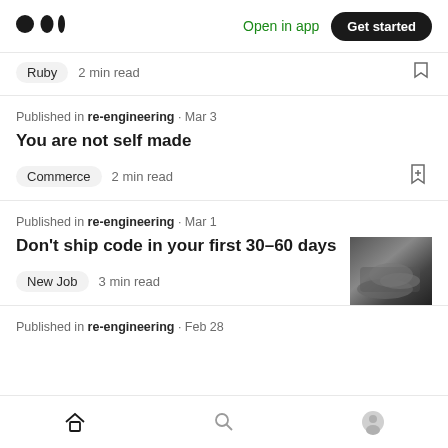Medium logo | Open in app | Get started
Ruby  2 min read
Published in re-engineering · Mar 3
You are not self made
Commerce  2 min read
Published in re-engineering · Mar 1
Don't ship code in your first 30–60 days
[Figure (photo): Black and white close-up photo of hands/keyboard]
New Job  3 min read
Published in re-engineering · Feb 28
Home | Search | Profile navigation icons